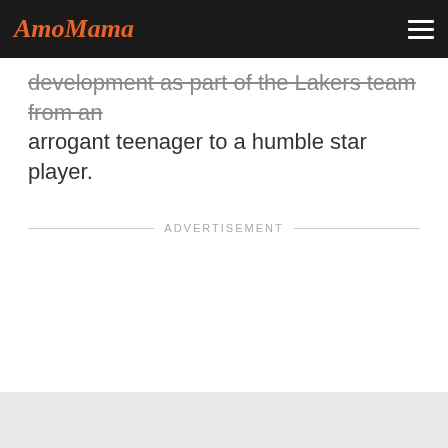AmoMama
development as part of the Lakers team from an arrogant teenager to a humble star player.
ADVERTISEMENT